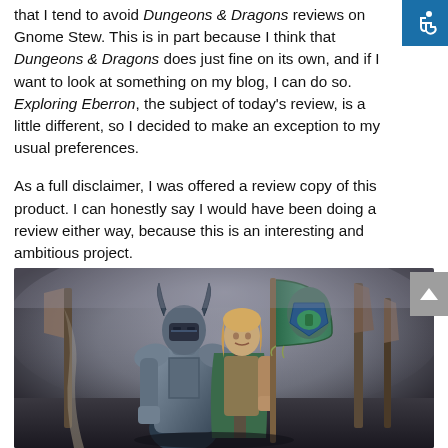that I tend to avoid Dungeons & Dragons reviews on Gnome Stew. This is in part because I think that Dungeons & Dragons does just fine on its own, and if I want to look at something on my blog, I can do so. Exploring Eberron, the subject of today's review, is a little different, so I decided to make an exception to my usual preferences.
As a full disclaimer, I was offered a review copy of this product. I can honestly say I would have been doing a review either way, because this is an interesting and ambitious project.
[Figure (illustration): Fantasy artwork showing two characters: a heavily armored warrior in dark plate armor with horned helmet, and a blonde person holding a green banner/standard with a coat of arms (blue and green shield design). Behind them are dark, smoky atmosphere with other banner poles visible in the background.]